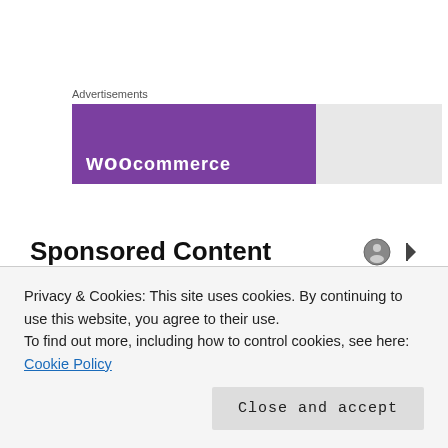Advertisements
[Figure (screenshot): WooCommerce advertisement banner with purple background and 'woocommerce' logo text in white, alongside a gray section]
Sponsored Content
[Figure (photo): Partial image strip showing purple and other colored sections — sponsored content image]
Privacy & Cookies: This site uses cookies. By continuing to use this website, you agree to their use.
To find out more, including how to control cookies, see here: Cookie Policy
Close and accept